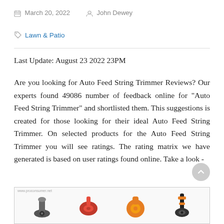March 20, 2022   John Dewey
Lawn & Patio
Last Update: August 23 2022 23PM
Are you looking for Auto Feed String Trimmer Reviews? Our experts found 49086 number of feedback online for "Auto Feed String Trimmer" and shortlisted them. This suggestions is created for those looking for their ideal Auto Feed String Trimmer. On selected products for the Auto Feed String Trimmer you will see ratings. The rating matrix we have generated is based on user ratings found online. Take a look -
[Figure (photo): Product image showing various auto feed string trimmer tools including red and black trimmers]